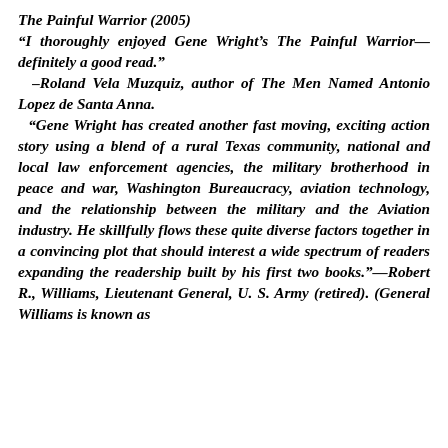The Painful Warrior (2005)
“I thoroughly enjoyed Gene Wright’s The Painful Warrior—definitely a good read.” –Roland Vela Muzquiz, author of The Men Named Antonio Lopez de Santa Anna. “Gene Wright has created another fast moving, exciting action story using a blend of a rural Texas community, national and local law enforcement agencies, the military brotherhood in peace and war, Washington Bureaucracy, aviation technology, and the relationship between the military and the Aviation industry. He skillfully flows these quite diverse factors together in a convincing plot that should interest a wide spectrum of readers expanding the readership built by his first two books.”—Robert R., Williams, Lieutenant General, U. S. Army (retired). (General Williams is known as